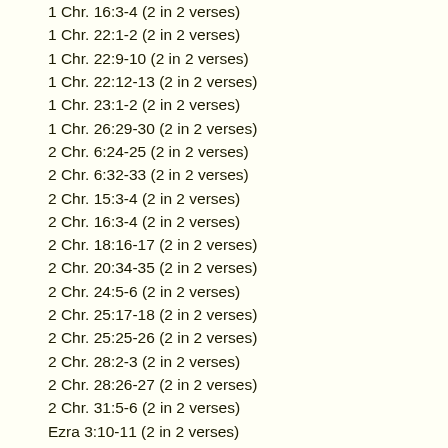1 Chr. 16:3-4 (2 in 2 verses)
1 Chr. 22:1-2 (2 in 2 verses)
1 Chr. 22:9-10 (2 in 2 verses)
1 Chr. 22:12-13 (2 in 2 verses)
1 Chr. 23:1-2 (2 in 2 verses)
1 Chr. 26:29-30 (2 in 2 verses)
2 Chr. 6:24-25 (2 in 2 verses)
2 Chr. 6:32-33 (2 in 2 verses)
2 Chr. 15:3-4 (2 in 2 verses)
2 Chr. 16:3-4 (2 in 2 verses)
2 Chr. 18:16-17 (2 in 2 verses)
2 Chr. 20:34-35 (2 in 2 verses)
2 Chr. 24:5-6 (2 in 2 verses)
2 Chr. 25:17-18 (2 in 2 verses)
2 Chr. 25:25-26 (2 in 2 verses)
2 Chr. 28:2-3 (2 in 2 verses)
2 Chr. 28:26-27 (2 in 2 verses)
2 Chr. 31:5-6 (2 in 2 verses)
Ezra 3:10-11 (2 in 2 verses)
Ezra 7:6-7 (2 in 2 verses)
Ezra 7:10-11 (2 in 2 verses)
Neh. 9:1-2 (2 in 2 verses)
Neh. 13:2-3 (2 in 2 verses)
Ps. 68:34-35 (2 in 2 verses)
Ps. 114:1-2 (2 in 2 verses)
Ps. 128:6-129:1 (2 in 2 verses)